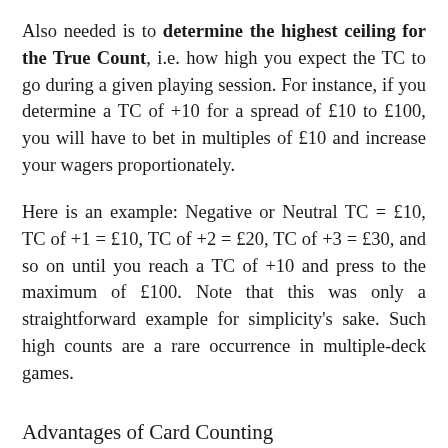Also needed is to determine the highest ceiling for the True Count, i.e. how high you expect the TC to go during a given playing session. For instance, if you determine a TC of +10 for a spread of £10 to £100, you will have to bet in multiples of £10 and increase your wagers proportionately.
Here is an example: Negative or Neutral TC = £10, TC of +1 = £10, TC of +2 = £20, TC of +3 = £30, and so on until you reach a TC of +10 and press to the maximum of £100. Note that this was only a straightforward example for simplicity's sake. Such high counts are a rare occurrence in multiple-deck games.
Advantages of Card Counting